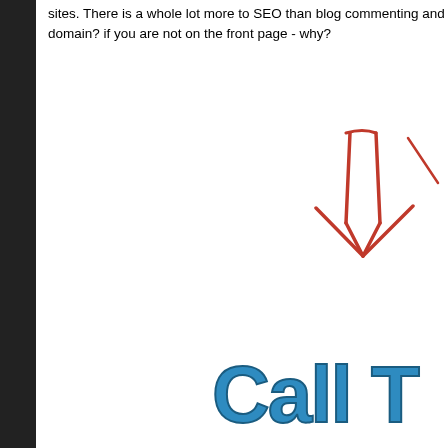sites. There is a whole lot more to SEO than blog commenting and domain? if you are not on the front page - why?
[Figure (illustration): Red hand-drawn sketch arrow pointing downward, in a scratchy style]
Call T
Or email
888 3